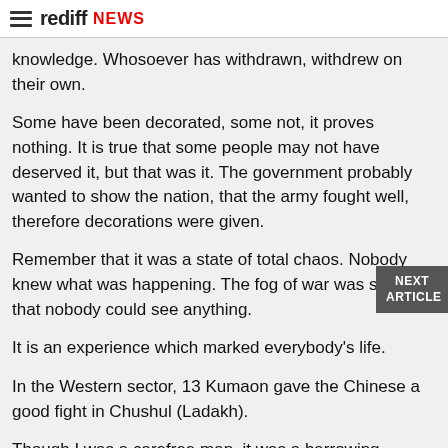rediff NEWS
knowledge. Whosoever has withdrawn, withdrew on their own.
Some have been decorated, some not, it proves nothing. It is true that some people may not have deserved it, but that was it. The government probably wanted to show the nation, that the army fought well, therefore decorations were given.
Remember that it was a state of total chaos. Nobody knew what was happening. The fog of war was so thick that nobody could see anything.
It is an experience which marked everybody's life.
In the Western sector, 13 Kumaon gave the Chinese a good fight in Chushul (Ladakh).
Though I was a carefree man, it was a harrowing experience. But even when people were running away, neither I nor my jawans thought of abandoning our post. We kept fighting, fighting.